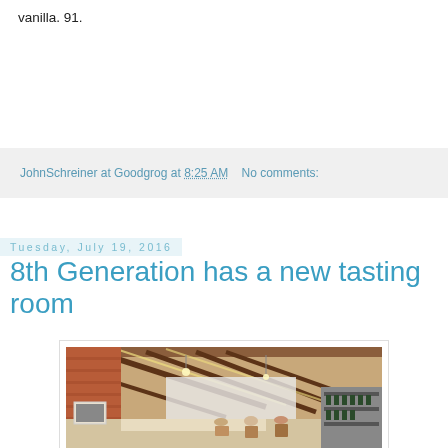vanilla. 91.
JohnSchreiner at Goodgrog at 8:25 AM   No comments:
Tuesday, July 19, 2016
8th Generation has a new tasting room
[Figure (photo): Interior of 8th Generation tasting room showing exposed wooden beam ceiling, brick wall, bar counter, and customers]